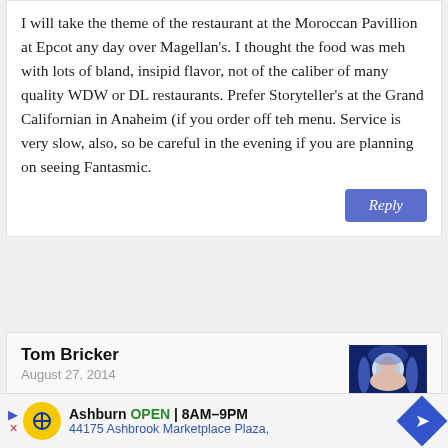I will take the theme of the restaurant at the Moroccan Pavillion at Epcot any day over Magellan's. I thought the food was meh with lots of bland, insipid flavor, not of the caliber of many quality WDW or DL restaurants. Prefer Storyteller's at the Grand Californian in Anaheim (if you order off teh menu. Service is very slow, also, so be careful in the evening if you are planning on seeing Fantasmic.
Reply
Tom Bricker
August 27, 2014
[Figure (photo): Avatar photo of Tom Bricker with blue/purple lighting background]
Storytellers? Really?! I don't think that's a restaurant you will see on any 'Best Of' Disney list...
Ashburn OPEN 8AM–9PM 44175 Ashbrook Marketplace Plaza,